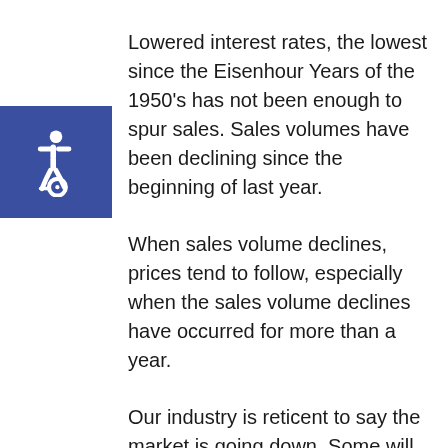Lowered interest rates, the lowest since the Eisenhour Years of the 1950's has not been enough to spur sales. Sales volumes have been declining since the beginning of last year.
[Figure (illustration): Blue square with white wheelchair accessibility icon]
When sales volume declines, prices tend to follow, especially when the sales volume declines have occurred for more than a year.
Our industry is reticent to say the market is going down. Some will not say it until clients demand it be measured.
Personally, I do not care if the market is going up rapidly or down. I have measured outlying markets that went up more than 50% in one year, only to see them decline as rapidly when